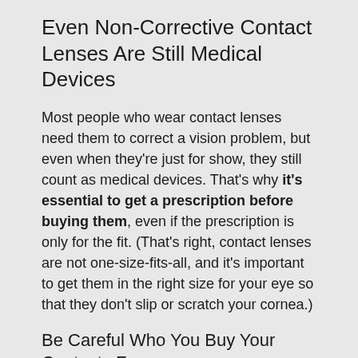Even Non-Corrective Contact Lenses Are Still Medical Devices
Most people who wear contact lenses need them to correct a vision problem, but even when they're just for show, they still count as medical devices. That's why it's essential to get a prescription before buying them, even if the prescription is only for the fit. (That's right, contact lenses are not one-size-fits-all, and it's important to get them in the right size for your eye so that they don't slip or scratch your cornea.)
Be Careful Who You Buy Your Contacts From
A good red flag to be aware of when buying costume contacts is whether or not they require a prescription before selling to you. If they don't, they're violating US law, and who knows what